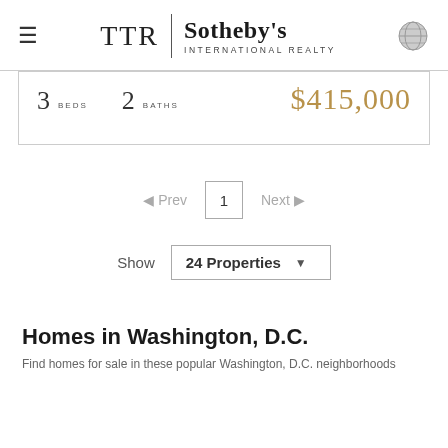TTR | Sotheby's International Realty
3 BEDS   2 BATHS   $415,000
◄ Prev   1   Next ►
Show 24 Properties
Homes in Washington, D.C.
Find homes for sale in these popular Washington, D.C. neighborhoods